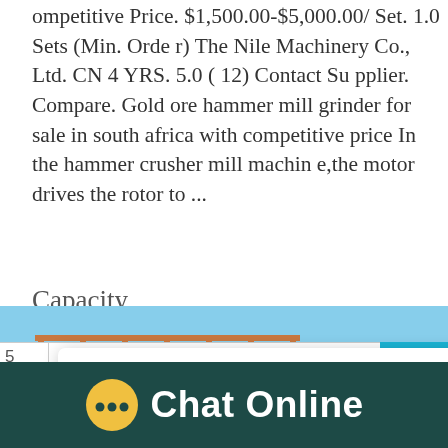ompetitive Price. $1,500.00-$5,000.00/ Set. 1.0 Sets (Min. Order) The Nile Machinery Co., Ltd. CN 4 YRS. 5.0 ( 12) Contact Supplier. Compare. Gold ore hammer mill grinder for sale in south africa with competitive price In the hammer crusher mill machine,the motor drives the rotor to ...
Capacity
[Figure (screenshot): Live chat popup overlay with avatar of 'winnie' and message: Hello, I am winnie, I am very glad to talk with you!]
[Figure (photo): Industrial scaffolding or machinery platform with orange/copper colored railings against a blue sky with clouds]
[Figure (infographic): Chat Online footer bar with yellow chat bubble icon and white text on dark teal background]